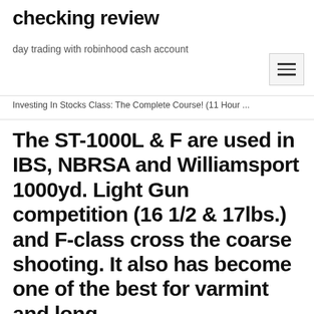checking review
day trading with robinhood cash account
Investing In Stocks Class: The Complete Course! (11 Hour ...
The ST-1000L & F are used in IBS, NBRSA and Williamsport 1000yd. Light Gun competition (16 1/2 & 17lbs.) and F-class cross the coarse shooting. It also has become one of the best for varmint and long